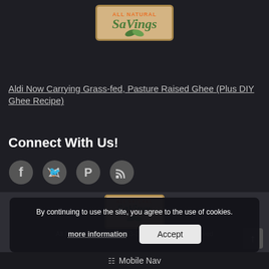[Figure (logo): All Natural Savings logo — tan/beige background with orange 'ALL NATURAL' text and green italic 'Savings' text with leaf decorations]
Aldi Now Carrying Grass-fed, Pasture Raised Ghee (Plus DIY Ghee Recipe)
Connect With Us!
[Figure (illustration): Social media icons row: Facebook, Twitter, Pinterest, RSS feed icons in gray]
[Figure (logo): All Natural Savings footer logo — same design, smaller size]
By continuing to use the site, you agree to the use of cookies.
more information
Accept
All Natural Savings ©2013-2019 · All Rights Reserved
Mobile Nav